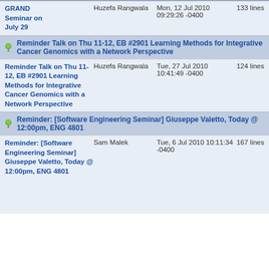| Subject | Sender | Date | Size |
| --- | --- | --- | --- |
| GRAND Seminar on July 29 | Huzefa Rangwala | Mon, 12 Jul 2010 09:29:26 -0400 | 133 lines |
| Reminder Talk on Thu 11-12, EB #2901 Learning Methods for Integrative Cancer Genomics with a Network Perspective | (header row) |  |  |
| Reminder Talk on Thu 11-12, EB #2901 Learning Methods for Integrative Cancer Genomics with a Network Perspective | Huzefa Rangwala | Tue, 27 Jul 2010 10:41:49 -0400 | 124 lines |
| Reminder: [Software Engineering Seminar] Giuseppe Valetto, Today @ 12:00pm, ENG 4801 | (header row) |  |  |
| Reminder: [Software Engineering Seminar] Giuseppe Valetto, Today @ 12:00pm, ENG 4801 | Sam Malek | Tue, 6 Jul 2010 10:11:34 -0400 | 167 lines |